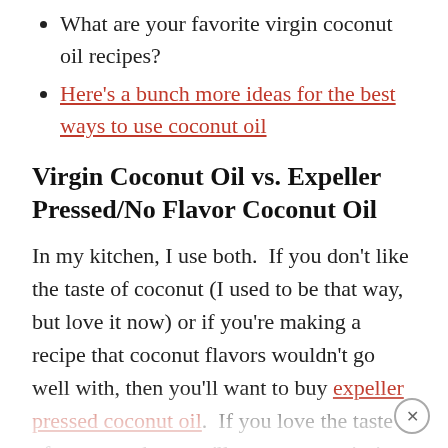What are your favorite virgin coconut oil recipes?
Here's a bunch more ideas for the best ways to use coconut oil
Virgin Coconut Oil vs. Expeller Pressed/No Flavor Coconut Oil
In my kitchen, I use both.  If you don't like the taste of coconut (I used to be that way, but love it now) or if you're making a recipe that coconut flavors wouldn't go well with, then you'll want to buy expeller pressed coconut oil.  If you love the taste of coconut, then you'll want to use virgin coconut oil which is less refined and has more of the nutrients still intact.  Read more here about the different terms used with coconut oil and what they mean.